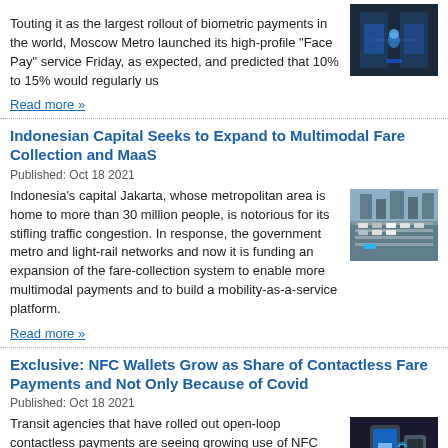Touting it as the largest rollout of biometric payments in the world, Moscow Metro launched its high-profile “Face Pay” service Friday, as expected, and predicted that 10% to 15% would regularly us
Read more »
[Figure (photo): Photo of a transit gate with biometric/facial recognition technology, blue lighting visible]
Indonesian Capital Seeks to Expand to Multimodal Fare Collection and MaaS
Published: Oct 18 2021
Indonesia’s capital Jakarta, whose metropolitan area is home to more than 30 million people, is notorious for its stifling traffic congestion. In response, the government metro and light-rail networks and now it is funding an expansion of the fare-collection system to enable more multimodal payments and to build a mobility-as-a-service platform.
Read more »
[Figure (photo): Aerial photo of Jakarta highway showing heavy traffic congestion with many vehicles]
Exclusive: NFC Wallets Grow as Share of Contactless Fare Payments and Not Only Because of Covid
Published: Oct 18 2021
Transit agencies that have rolled out open-loop contactless payments are seeing growing use of NFC wallets to pay fares,
[Figure (photo): Photo of a hand holding a phone near a contactless payment terminal]